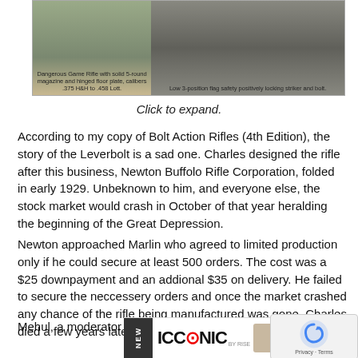[Figure (photo): Product images of a Dangerous Game Rifle showing the rifle body and safety mechanism. Left caption: 'Dangerous Game Rifle with solid 5-round magazine and hinged floor plate, calibers .375 H&H to .458 Lott.' Right caption: 'Low 3-position flag safety positively locking striker and bolt.']
Click to expand.
According to my copy of Bolt Action Rifles (4th Edition), the story of the Leverbolt is a sad one. Charles designed the rifle after this business, Newton Buffolo Rifle Corporation, folded in early 1929. Unbeknown to him, and everyone else, the stock market would crash in October of that year heralding the beginning of the Great Depression.
Newton approached Marlin who agreed to limited production only if he could secure at least 500 orders. The cost was a $25 downpayment and an addional $35 on delivery. He failed to secure the neccessery orders and once the market crashed any chance of the rifle being manufactured was gone. Charles died a few years later aged 62.
Mehul, a moderator at nitroexpress.com and expert of the to... emailed r...
[Figure (logo): ICONIC BY RISE advertisement banner with NEW label and product icons]